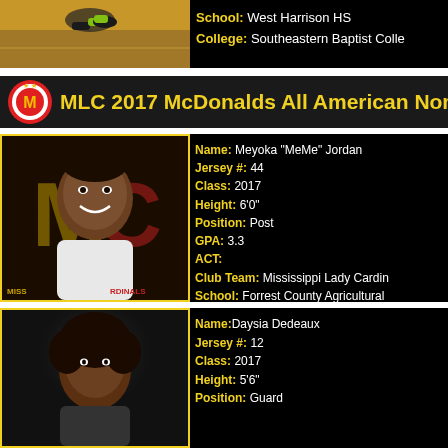School: West Harrison HS
College: Southeastern Baptist College
MLC 2017 McDonalds All American Nom
[Figure (photo): Basketball player photo - Meyoka MeMe Jordan with Mississippi Cardinals logo backdrop]
Name: Meyoka "MeMe" Jordan
Jersey #: 44
Class: 2017
Height: 6'0"
Position: Post
GPA: 3.3
ACT:
Club Team: Mississippi Lady Cardinals
School: Forrest County Agricultural
College: Meridian CC
[Figure (photo): Basketball player photo - Daysia Dedeaux headshot]
Name: Daysia Dedeaux
Jersey #: 12
Class: 2017
Height: 5'6"
Position: Guard